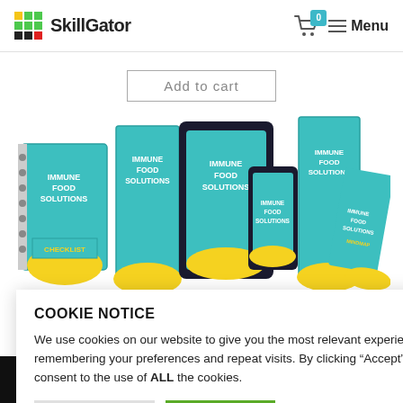[Figure (logo): SkillGator logo with colorful grid icon and bold text]
Add to cart
[Figure (photo): Immune Food Solutions product bundle showing books, tablet, and phone with teal covers and lemon graphics, including checklist and mindmap editions]
COOKIE NOTICE
We use cookies on our website to give you the most relevant experience by remembering your preferences and repeat visits. By clicking “Accept”, you consent to the use of ALL the cookies.
PRIVACY POLICY
ACCEPT
ART